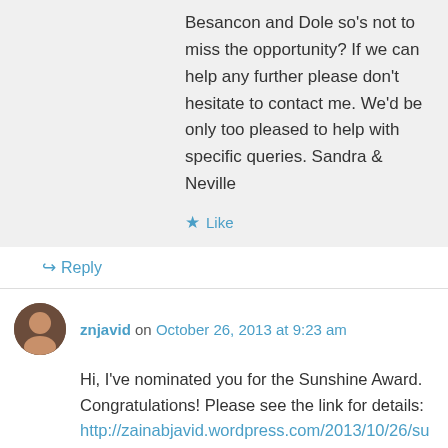Besancon and Dole so’s not to miss the opportunity? If we can help any further please don’t hesitate to contact me. We’d be only too pleased to help with specific queries. Sandra & Neville
★ Like
↳ Reply
znjavid on October 26, 2013 at 9:23 am
Hi, I’ve nominated you for the Sunshine Award. Congratulations! Please see the link for details: http://zainabjavid.wordpress.com/2013/10/26/sunshine-award/
★ Like